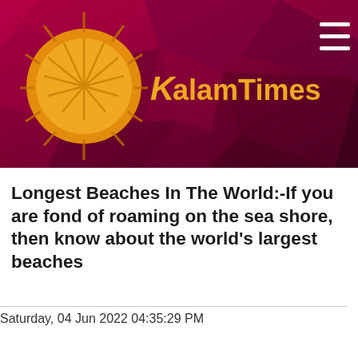KalamTimes
Longest Beaches In The World:-If you are fond of roaming on the sea shore, then know about the world's largest beaches
Saturday, 04 Jun 2022 04:35:29 PM